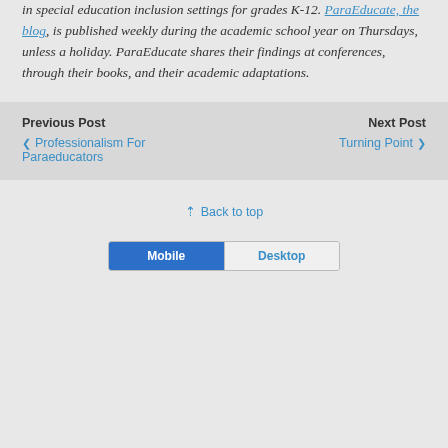in special education inclusion settings for grades K-12. ParaEducate, the blog, is published weekly during the academic school year on Thursdays, unless a holiday. ParaEducate shares their findings at conferences, through their books, and their academic adaptations.
Previous Post
< Professionalism For Paraeducators
Next Post
Turning Point >
^ Back to top
Mobile  Desktop